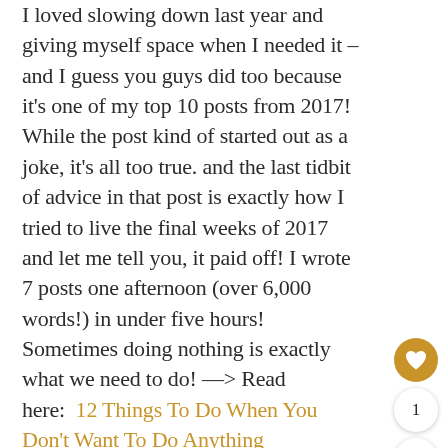I loved slowing down last year and giving myself space when I needed it – and I guess you guys did too because it's one of my top 10 posts from 2017! While the post kind of started out as a joke, it's all too true. and the last tidbit of advice in that post is exactly how I tried to live the final weeks of 2017 and let me tell you, it paid off! I wrote 7 posts one afternoon (over 6,000 words!) in under five hours! Sometimes doing nothing is exactly what we need to do! —> Read here:  12 Things To Do When You Don't Want To Do Anything
[Figure (other): Heart/favorite icon button (gold circle with white heart), count indicator showing '1', and share button (white circle with share icon)]